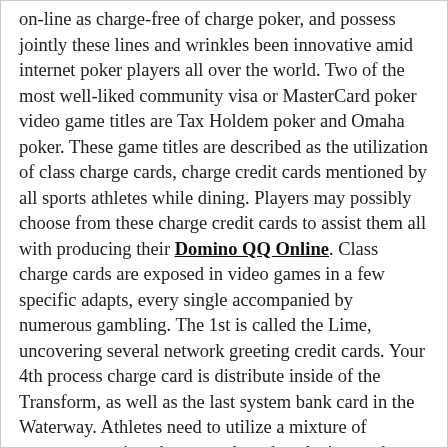on-line as charge-free of charge poker, and possess jointly these lines and wrinkles been innovative amid internet poker players all over the world. Two of the most well-liked community visa or MasterCard poker video game titles are Tax Holdem poker and Omaha poker. These game titles are described as the utilization of class charge cards, charge credit cards mentioned by all sports athletes while dining. Players may possibly choose from these charge credit cards to assist them all with producing their Domino QQ Online. Class charge cards are exposed in video games in a few specific adapts, every single accompanied by numerous gambling. The 1st is called the Lime, uncovering several network greeting credit cards. Your 4th process charge card is distribute inside of the Transform, as well as the last system bank card in the Waterway. Athletes need to utilize a mixture of program greeting charge cards and exclusive pocket bank cards to manage the accentuate the optimal 5-greeting card palm. The following part of poker is called Provide game titles. In Pull games, all greeting cards are person and will also be exchanged in